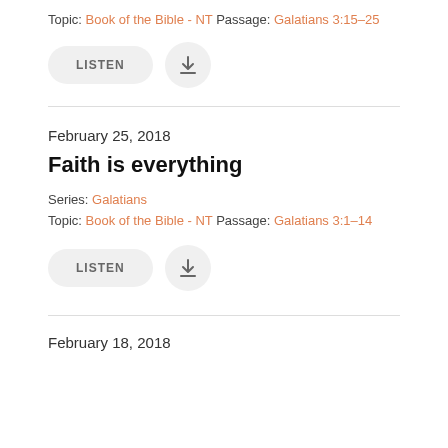Topic: Book of the Bible - NT Passage: Galatians 3:15–25
[Figure (screenshot): LISTEN button and download icon button, both with rounded/pill gray background]
February 25, 2018
Faith is everything
Series: Galatians
Topic: Book of the Bible - NT Passage: Galatians 3:1–14
[Figure (screenshot): LISTEN button and download icon button, both with rounded/pill gray background]
February 18, 2018